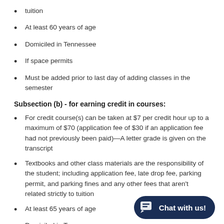tuition
At least 60 years of age
Domiciled in Tennessee
If space permits
Must be added prior to last day of adding classes in the semester
Subsection (b) - for earning credit in courses:
For credit course(s) can be taken at $7 per credit hour up to a maximum of $70 (application fee of $30 if an application fee had not previously been paid)—A letter grade is given on the transcript
Textbooks and other class materials are the responsibility of the student; including application fee, late drop fee, parking permit, and parking fines and any other fees that aren't related strictly to tuition
At least 65 years of age
Domiciled in Tennessee